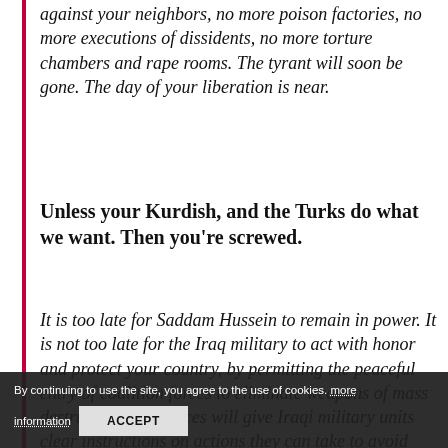against your neighbors, no more poison factories, no more executions of dissidents, no more torture chambers and rape rooms. The tyrant will soon be gone. The day of your liberation is near.
Unless your Kurdish, and the Turks do what we want. Then you're screwed.
It is too late for Saddam Hussein to remain in power. It is not too late for the Iraq military to act with honor and protect your country, by permitting the peaceful entry of coalition forces to eliminate weapons of mass destruction. Our forces will give Iraqi military units clear instructions on actions they can take to avoid being attacked and destroyed.
By continuing to use the site, you agree to the use of cookies. more information ACCEPT